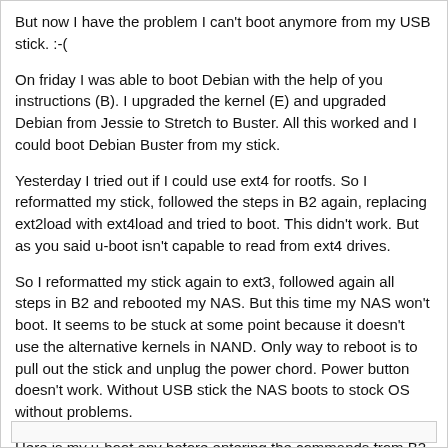But now I have the problem I can't boot anymore from my USB stick. :-(
On friday I was able to boot Debian with the help of you instructions (B). I upgraded the kernel (E) and upgraded Debian from Jessie to Stretch to Buster. All this worked and I could boot Debian Buster from my stick.
Yesterday I tried out if I could use ext4 for rootfs. So I reformatted my stick, followed the steps in B2 again, replacing ext2load with ext4load and tried to boot. This didn't work. But as you said u-boot isn't capable to read from ext4 drives.
So I reformatted my stick again to ext3, followed again all steps in B2 and rebooted my NAS. But this time my NAS won't boot. It seems to be stuck at some point because it doesn't use the alternative kernels in NAND. Only way to reboot is to pull out the stick and unplug the power chord. Power button doesn't work. Without USB stick the NAS boots to stock OS without problems.
Here is my u-boot env before entering the commands from B2 step 4:
[Figure (screenshot): Empty code/terminal box at the bottom of the page]